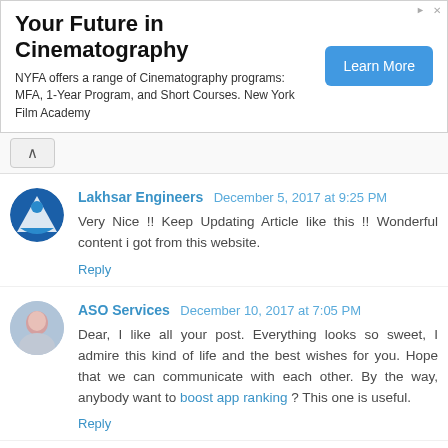[Figure (other): Advertisement banner: 'Your Future in Cinematography' - NYFA offers a range of Cinematography programs: MFA, 1-Year Program, and Short Courses. New York Film Academy. With a 'Learn More' blue button.]
Lakhsar Engineers December 5, 2017 at 9:25 PM
Very Nice !! Keep Updating Article like this !! Wonderful content i got from this website.
Reply
ASO Services December 10, 2017 at 7:05 PM
Dear, I like all your post. Everything looks so sweet, I admire this kind of life and the best wishes for you. Hope that we can communicate with each other. By the way, anybody want to boost app ranking ? This one is useful.
Reply